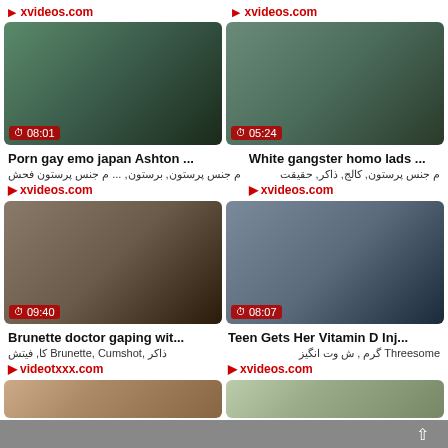[Figure (screenshot): Video thumbnail grid of adult content website showing video thumbnails with titles, tags, and source links]
xvideos.com
[Figure (screenshot): Video thumbnail 08:01 - Porn gay emo japan Ashton ...]
Porn gay emo japan Ashton ...
م جنس پرستون, برستون, ... م جنس پرستون فحش
xvideos.com
[Figure (screenshot): Video thumbnail 05:24 - White gangster homo lads ...]
White gangster homo lads ...
م جنس پرستون, کالج, ذاکر, حقیقت
xvideos.com
[Figure (screenshot): Video thumbnail 09:40 - Brunette doctor gaping wit...]
Brunette doctor gaping wit...
کا, فیتش Brunette, Cumshot, ذاکر
videotxxx.com
[Figure (screenshot): Video thumbnail 08:07 - Teen Gets Her Vitamin D Inj...]
Teen Gets Her Vitamin D Inj...
Threesome گرم , ش وت انگیز
xvideos.com